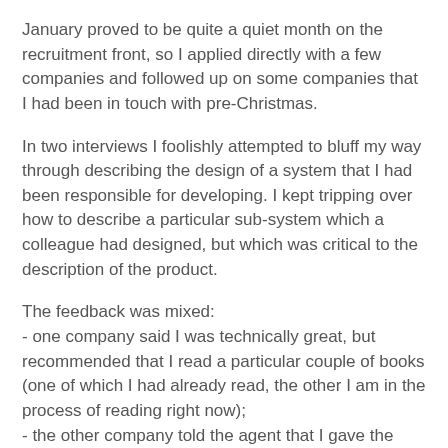January proved to be quite a quiet month on the recruitment front, so I applied directly with a few companies and followed up on some companies that I had been in touch with pre-Christmas.
In two interviews I foolishly attempted to bluff my way through describing the design of a system that I had been responsible for developing. I kept tripping over how to describe a particular sub-system which a colleague had designed, but which was critical to the description of the product.
The feedback was mixed:
- one company said I was technically great, but recommended that I read a particular couple of books (one of which I had already read, the other I am in the process of reading right now);
- the other company told the agent that I gave the impression that I wasn't interested in working there
Given that I had just spoken to the agent to let them know